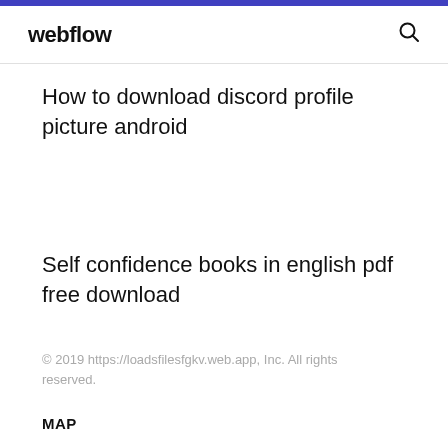webflow
How to download discord profile picture android
Self confidence books in english pdf free download
© 2019 https://loadsfilesfgkv.web.app, Inc. All rights reserved.
MAP